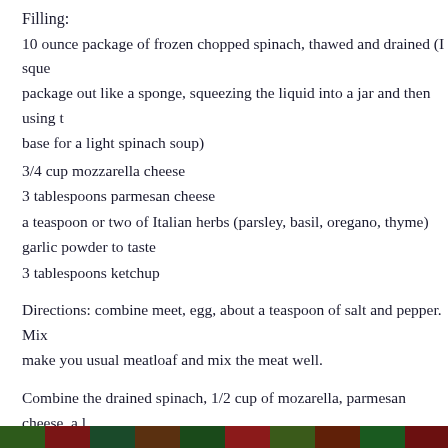Filling:
10 ounce package of frozen chopped spinach, thawed and drained (I sque package out like a sponge, squeezing the liquid into a jar and then using t base for a light spinach soup)
3/4 cup mozzarella cheese
3 tablespoons parmesan cheese
a teaspoon or two of Italian herbs (parsley, basil, oregano, thyme)
garlic powder to taste
3 tablespoons ketchup
Directions: combine meet, egg, about a teaspoon of salt and pepper. Mix make you usual meatloaf and mix the meat well.
Combine the drained spinach, 1/2 cup of mozarella, parmesan cheese, a l Italian spices, and and the garlic powder.
Spread beef mixture on waxed paper or parchment paper and pat into 14 rectangle. Spread spinach mixture over beef to 3/4-inch of edge on all sic
[Figure (photo): Colorful strip image at bottom of page showing food or ingredients]